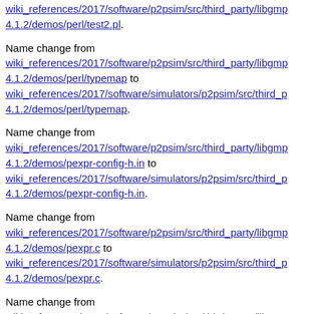wiki_references/2017/software/p2psim/src/third_party/libgmp4.1.2/demos/perl/test2.pl.
Name change from wiki_references/2017/software/p2psim/src/third_party/libgmp4.1.2/demos/perl/typemap to wiki_references/2017/software/simulators/p2psim/src/third_party/libgmp4.1.2/demos/perl/typemap.
Name change from wiki_references/2017/software/p2psim/src/third_party/libgmp4.1.2/demos/pexpr-config-h.in to wiki_references/2017/software/simulators/p2psim/src/third_party/libgmp4.1.2/demos/pexpr-config-h.in.
Name change from wiki_references/2017/software/p2psim/src/third_party/libgmp4.1.2/demos/pexpr.c to wiki_references/2017/software/simulators/p2psim/src/third_party/libgmp4.1.2/demos/pexpr.c.
Name change from wiki_references/2017/software/p2psim/src/third_party/libgmp4.1.2/demos/primes.c to wiki_references/2017/software/simulators/p2psim/src/third_party/libgmp4.1.2/demos/primes.c.